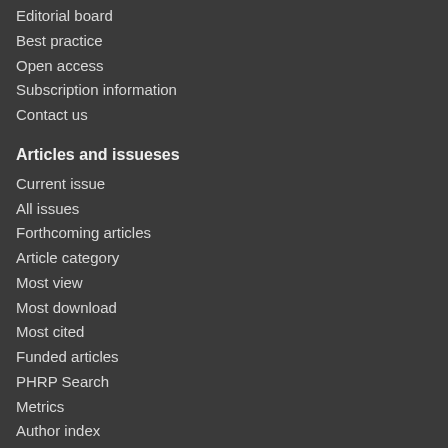Editorial board
Best practice
Open access
Subscription information
Contact us
Articles and issueses
Current issue
All issues
Forthcoming articles
Article category
Most view
Most download
Most cited
Funded articles
PHRP Search
Metrics
Author index
Editorial policies
Research & publication ethics
Peer review policy